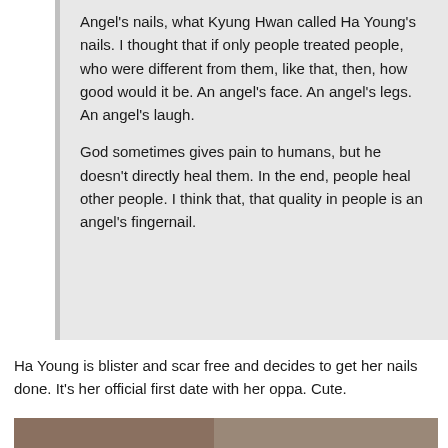Angel's nails, what Kyung Hwan called Ha Young's nails. I thought that if only people treated people, who were different from them, like that, then, how good would it be. An angel's face. An angel's legs. An angel's laugh.

God sometimes gives pain to humans, but he doesn't directly heal them. In the end, people heal other people. I think that, that quality in people is an angel's fingernail.
Ha Young is blister and scar free and decides to get her nails done. It's her official first date with her oppa. Cute.
[Figure (photo): Two side-by-side photos: left shows a person's face with eyes closed, right shows a hand with nails being done.]